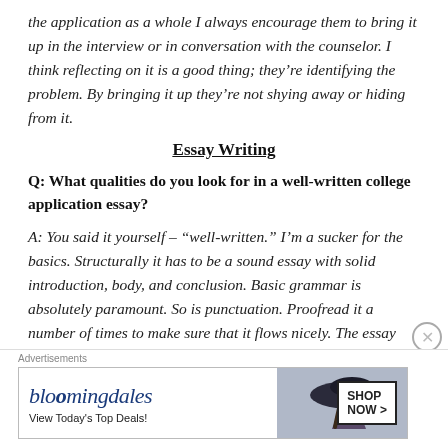the application as a whole I always encourage them to bring it up in the interview or in conversation with the counselor. I think reflecting on it is a good thing; they’re identifying the problem. By bringing it up they’re not shying away or hiding from it.
Essay Writing
Q: What qualities do you look for in a well-written college application essay?
A: You said it yourself – “well-written.” I’m a sucker for the basics. Structurally it has to be a sound essay with solid introduction, body, and conclusion. Basic grammar is absolutely paramount. So is punctuation. Proofread it a number of times to make sure that it flows nicely. The essay
Advertisements
[Figure (other): Bloomingdale's advertisement banner with logo, tagline 'View Today’s Top Deals!' and 'SHOP NOW >' button, featuring a woman in a large hat.]